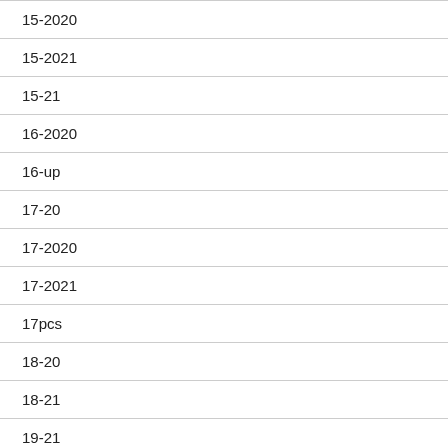15-2020
15-2021
15-21
16-2020
16-up
17-20
17-2020
17-2021
17pcs
18-20
18-21
19-21
1967-72